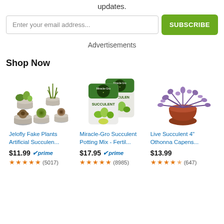updates.
Enter your email address... SUBSCRIBE
Advertisements
Shop Now
[Figure (other): Three product listings: Jelofly Fake Plants Artificial Succulen... $11.99 prime 4.5 stars (5017), Miracle-Gro Succulent Potting Mix - Fertil... $17.95 prime 5 stars (8985), Live Succulent 4" Othonna Capens... $13.99 4.5 stars (647)]